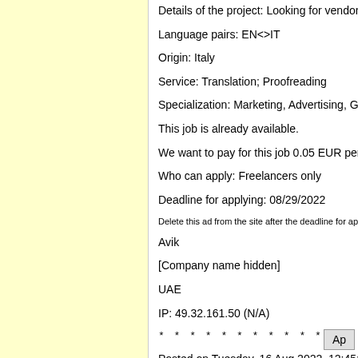Details of the project: Looking for vendors
Language pairs: EN<>IT
Origin: Italy
Service: Translation; Proofreading
Specialization: Marketing, Advertising, Ga...
This job is already available.
We want to pay for this job 0.05 EUR per...
Who can apply: Freelancers only
Deadline for applying: 08/29/2022
Delete this ad from the site after the deadline for appl...
Avik
[Company name hidden]
UAE
IP: 49.32.161.50 (N/A)
* * * * * * * * * * * * * * * * * *
Posted on Tuesday, 16 Aug 2022, 12:45:...
Number of applicatio...
Apply